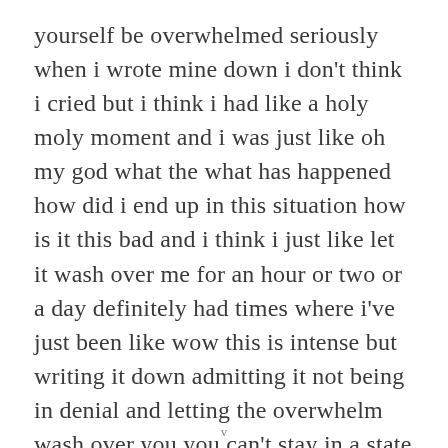yourself be overwhelmed seriously when i wrote mine down i don't think i cried but i think i had like a holy moly moment and i was just like oh my god what the what has happened how did i end up in this situation how is it this bad and i think i just like let it wash over me for an hour or two or a day definitely had times where i've just been like wow this is intense but writing it down admitting it not being in denial and letting the overwhelm wash over you you can't stay in a state of overwhelm forever and so eventually you kind of just like okay
v